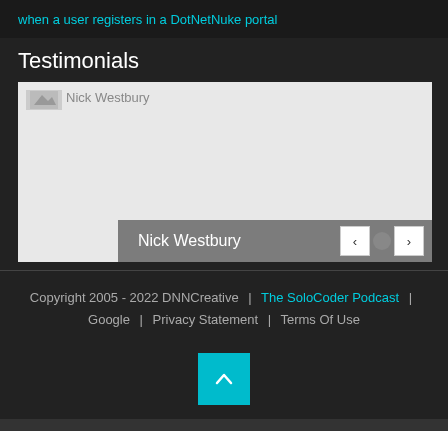when a user registers in a DotNetNuke portal
Testimonials
[Figure (screenshot): Testimonials slider showing Nick Westbury with navigation controls (previous, dot indicator, next) on a gray background with semi-transparent caption bar]
Copyright 2005 - 2022 DNNCreative | The SoloCoder Podcast | Google | Privacy Statement | Terms Of Use